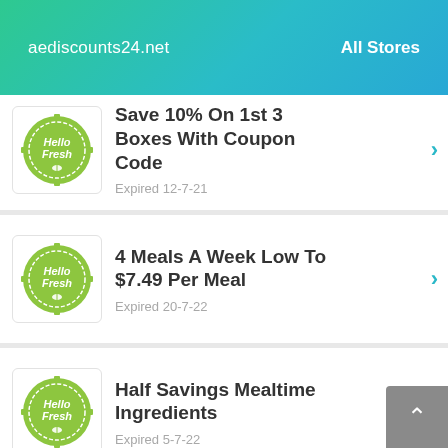aediscounts24.net   All Stores
Save 10% On 1st 3 Boxes With Coupon Code — Expired 12-7-21
4 Meals A Week Low To $7.49 Per Meal — Expired 20-7-22
Half Savings Mealtime Ingredients — Expired 5-7-22